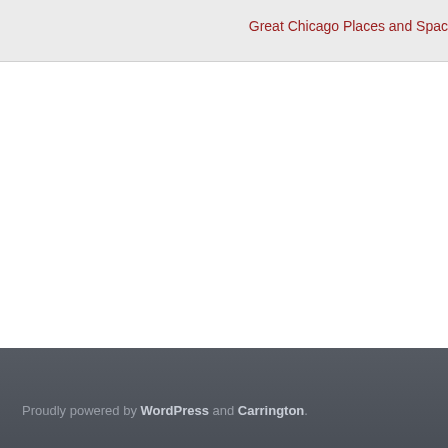Great Chicago Places and Spac
Proudly powered by WordPress and Carrington.